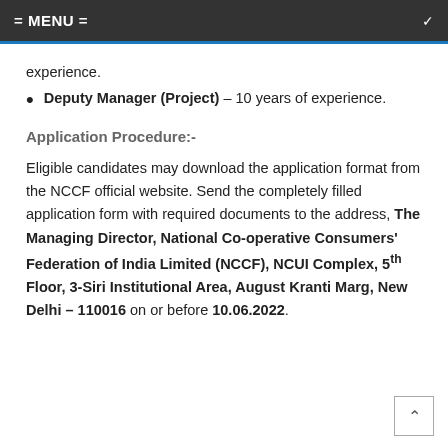= MENU =
experience.
Deputy Manager (Project) – 10 years of experience.
Application Procedure:-
Eligible candidates may download the application format from the NCCF official website. Send the completely filled application form with required documents to the address, The Managing Director, National Co-operative Consumers' Federation of India Limited (NCCF), NCUI Complex, 5th Floor, 3-Siri Institutional Area, August Kranti Marg, New Delhi – 110016 on or before 10.06.2022.